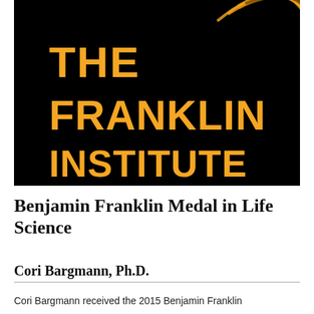[Figure (logo): The Franklin Institute logo — bold orange text reading THE FRANKLIN INSTITUTE on a black background with partial circular gold/orange graphic in top right corner]
Benjamin Franklin Medal in Life Science
Cori Bargmann, Ph.D.
Cori Bargmann received the 2015 Benjamin Franklin